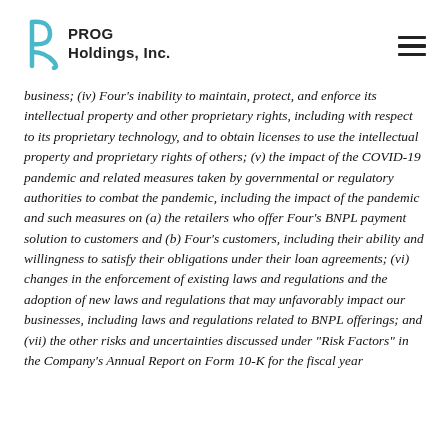PROG Holdings, Inc.
business; (iv) Four's inability to maintain, protect, and enforce its intellectual property and other proprietary rights, including with respect to its proprietary technology, and to obtain licenses to use the intellectual property and proprietary rights of others; (v) the impact of the COVID-19 pandemic and related measures taken by governmental or regulatory authorities to combat the pandemic, including the impact of the pandemic and such measures on (a) the retailers who offer Four's BNPL payment solution to customers and (b) Four's customers, including their ability and willingness to satisfy their obligations under their loan agreements; (vi) changes in the enforcement of existing laws and regulations and the adoption of new laws and regulations that may unfavorably impact our businesses, including laws and regulations related to BNPL offerings; and (vii) the other risks and uncertainties discussed under "Risk Factors" in the Company's Annual Report on Form 10-K for the fiscal year